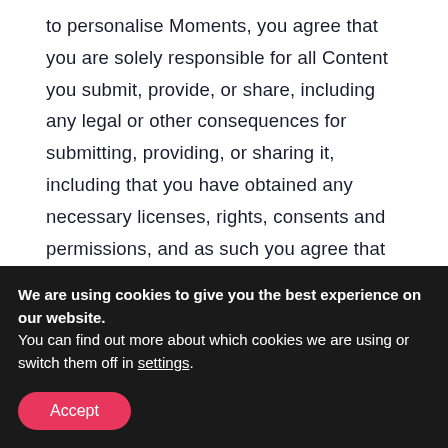to personalise Moments, you agree that you are solely responsible for all Content you submit, provide, or share, including any legal or other consequences for submitting, providing, or sharing it, including that you have obtained any necessary licenses, rights, consents and permissions, and as such you agree that none of the aforementioned Content will in any way violate the copyrights, privacy rights, publicity rights, trademark rights, contract rights or any other intellectual property rights or other rights of any
We are using cookies to give you the best experience on our website. You can find out more about which cookies we are using or switch them off in settings.
Accept